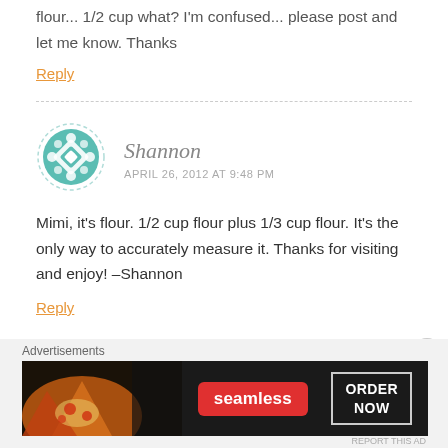flour... 1/2 cup what? I'm confused... please post and let me know. Thanks
Reply
Shannon
APRIL 26, 2012 AT 9:48 PM
Mimi, it's flour. 1/2 cup flour plus 1/3 cup flour. It's the only way to accurately measure it. Thanks for visiting and enjoy! –Shannon
Reply
Advertisements
[Figure (other): Seamless food delivery advertisement banner showing pizza with Seamless logo and ORDER NOW button]